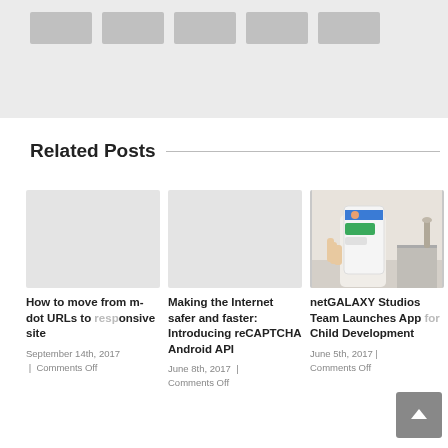[Figure (other): Top banner area with gray thumbnail placeholder boxes in a row on a light gray background]
Related Posts
[Figure (photo): Blank/gray placeholder image for 'How to move from m-dot URLs to responsive site' post]
How to move from m-dot URLs to responsive site
September 14th, 2017  |  Comments Off
[Figure (photo): Blank/gray placeholder image for 'Making the Internet safer and faster: Introducing reCAPTCHA Android API' post]
Making the Internet safer and faster: Introducing reCAPTCHA Android API
June 8th, 2017  |  Comments Off
[Figure (photo): Photo of a hand holding a smartphone displaying an app interface, for 'netGALAXY Studios Team Launches App for Child Development' post]
netGALAXY Studios Team Launches App for Child Development
June 5th, 2017  |  Comments Off